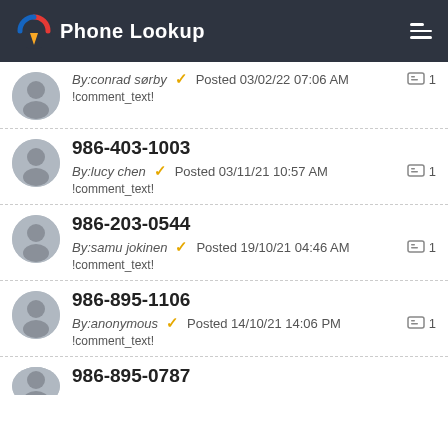Phone Lookup
By:conrad sørby  Posted 03/02/22 07:06 AM  1
!comment_text!
986-403-1003
By:lucy chen  Posted 03/11/21 10:57 AM  1
!comment_text!
986-203-0544
By:samu jokinen  Posted 19/10/21 04:46 AM  1
!comment_text!
986-895-1106
By:anonymous  Posted 14/10/21 14:06 PM  1
!comment_text!
986-895-0787